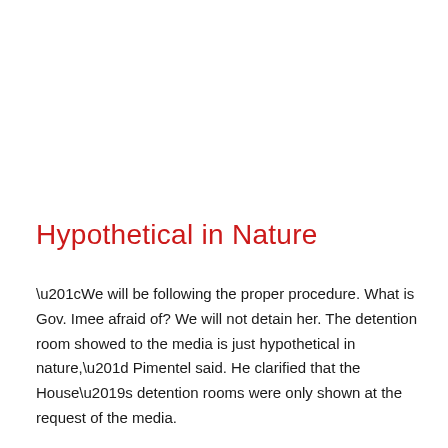Hypothetical in Nature
“We will be following the proper procedure. What is Gov. Imee afraid of? We will not detain her. The detention room showed to the media is just hypothetical in nature,” Pimentel said. He clarified that the House’s detention rooms were only shown at the request of the media.